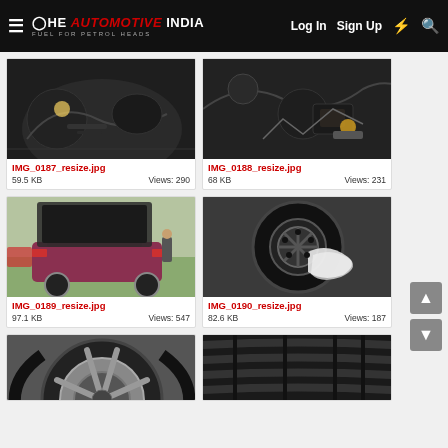THE AUTOMOTIVE INDIA — Log In | Sign Up
[Figure (photo): Car undercarriage close-up photo — IMG_0187_resize.jpg]
IMG_0187_resize.jpg
59.5 KB    Views: 290
[Figure (photo): Car undercarriage/engine area close-up photo — IMG_0188_resize.jpg]
IMG_0188_resize.jpg
68 KB    Views: 231
[Figure (photo): Hyundai car with trunk open, rear view — IMG_0189_resize.jpg]
IMG_0189_resize.jpg
97.1 KB    Views: 547
[Figure (photo): Spare tire in trunk — IMG_0190_resize.jpg]
IMG_0190_resize.jpg
82.6 KB    Views: 187
[Figure (photo): Car wheel/alloy close-up — partial view]
[Figure (photo): Car tire close-up — partial view]